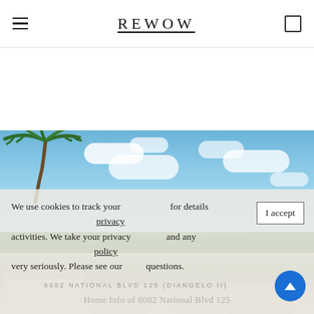REWOW
[Figure (photo): Exterior photo of a suburban Florida home with palm trees and blue sky with clouds]
We use cookies to track your activities. We take your privacy very seriously. Please see our privacy policy for details and any questions.
6082 NATIONAL BLVD 125 (DIANGELO II)
Home Info of 6082 National Blvd 125